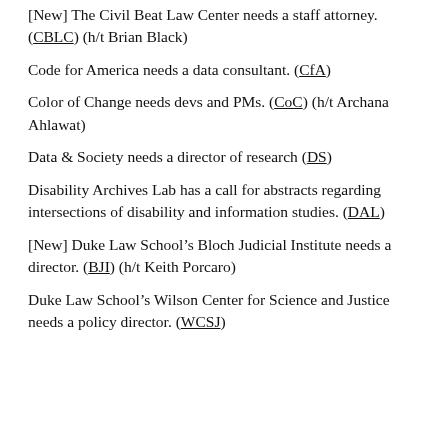[New] The Civil Beat Law Center needs a staff attorney. (CBLC) (h/t Brian Black)
Code for America needs a data consultant. (CfA)
Color of Change needs devs and PMs. (CoC) (h/t Archana Ahlawat)
Data & Society needs a director of research (DS)
Disability Archives Lab has a call for abstracts regarding intersections of disability and information studies. (DAL)
[New] Duke Law School's Bloch Judicial Institute needs a director. (BJI) (h/t Keith Porcaro)
Duke Law School's Wilson Center for Science and Justice needs a policy director. (WCSJ)